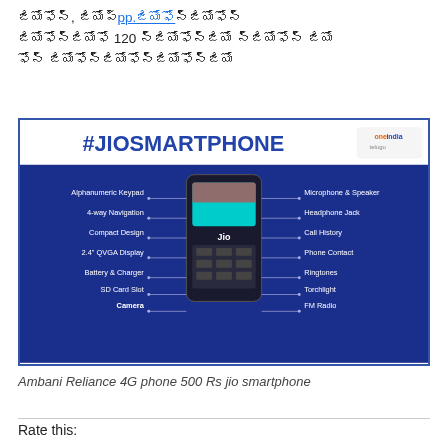జియోఫోన్, జియోప్pp.జియోఫోన్జియోఫోన్ జియోఫోన్జియోఫోన్జియోఫోన్ 120 జియోఫోన్జియోఫోన్జియోఫోన్ జియోఫోన్ జియోఫోన్జియోఫోన్జియోఫోన్జియోఫోన్జియో
[Figure (infographic): JioSmartphone infographic showing features: Alphanumeric Keypad, 4-way Navigation, Compact Design, 2.4 QVGA Display, Battery & Charger, SD Card Slot, Camera on left; Microphone & Speaker, Headphone Jack, Call History, Phone Contact, Ringtones, Torchlight, FM Radio on right. Header: #JIOSMARTPHONE with OneIndia Telugu logo.]
Ambani Reliance 4G phone 500 Rs jio smartphone
Rate this: